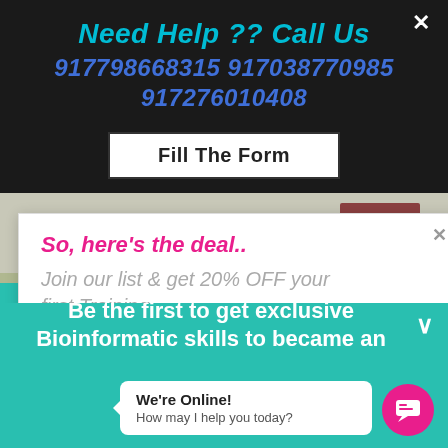Need Help ?? Call Us
917798668315  917038770985  917276010408
Fill The Form
[Figure (photo): Classroom photo showing students and an instructor in a training session]
So, here's the deal..
Join our list & get 20% OFF your first Training
Phone *
Be the first to get exclusive Bioinformatic skills to became an
We're Online!
How may I help you today?